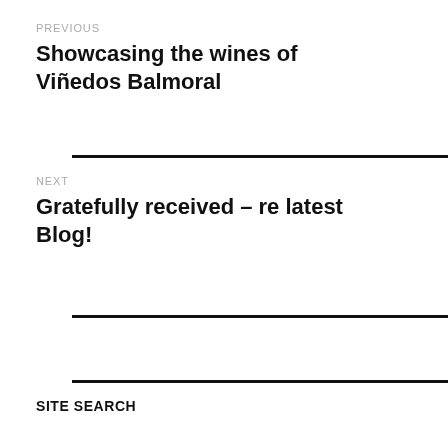PREVIOUS
Showcasing the wines of Viñedos Balmoral
NEXT
Gratefully received – re latest Blog!
SITE SEARCH